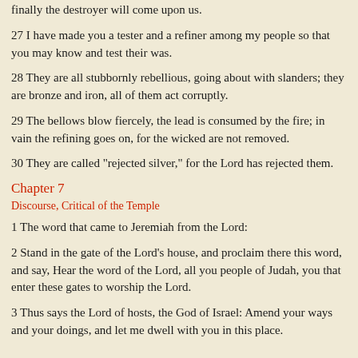finally the destroyer will come upon us.
27 I have made you a tester and a refiner among my people so that you may know and test their was.
28 They are all stubbornly rebellious, going about with slanders; they are bronze and iron, all of them act corruptly.
29 The bellows blow fiercely, the lead is consumed by the fire; in vain the refining goes on, for the wicked are not removed.
30 They are called "rejected silver," for the Lord has rejected them.
Chapter 7
Discourse, Critical of the Temple
1 The word that came to Jeremiah from the Lord:
2 Stand in the gate of the Lord's house, and proclaim there this word, and say, Hear the word of the Lord, all you people of Judah, you that enter these gates to worship the Lord.
3 Thus says the Lord of hosts, the God of Israel: Amend your ways and your doings, and let me dwell with you in this place.